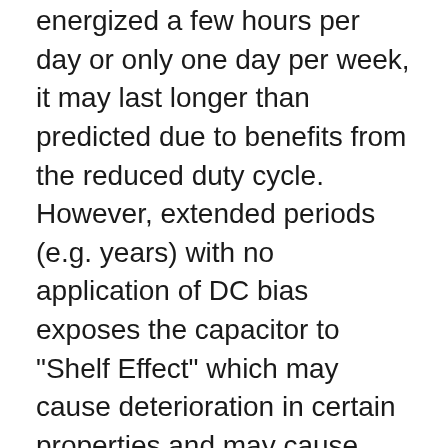energized a few hours per day or only one day per week, it may last longer than predicted due to benefits from the reduced duty cycle. However, extended periods (e.g. years) with no application of DC bias exposes the capacitor to "Shelf Effect" which may cause deterioration in certain properties and may cause reduced reliability during subsequent initial charge-up. Generally storage for up to 5 years at up to 40 ºC is permissible without the requirement of re-aging or reconditioning the capacitors. For further information please contact us.
Capacitors with low applied stress will last a very long time. Although we are not aware of